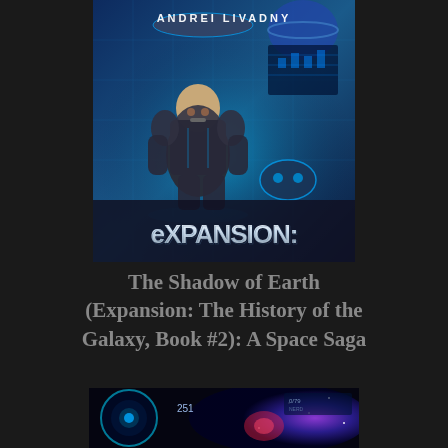[Figure (illustration): Book cover for 'Expansion: The Shadow of Earth' by Andrei Livadny. Shows a male figure in military/space armor against a blue sci-fi background with spaceships and holographic displays. The word 'EXPANSION:' appears in large metallic letters at the bottom of the cover.]
The Shadow of Earth (Expansion: The History of the Galaxy, Book #2): A Space Saga
[Figure (illustration): Partial view of a second book cover showing a space scene with a glowing eye/portal, stars, nebula, and purple/blue cosmic imagery. Numbers '251' visible.]